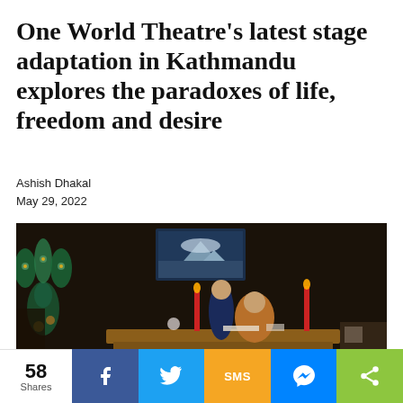One World Theatre's latest stage adaptation in Kathmandu explores the paradoxes of life, freedom and desire
Ashish Dhakal
May 29, 2022
[Figure (photo): Theatre stage scene with two women at a wooden desk with red candles. A peacock painting is visible on the left wall and a mountain landscape painting on the back wall. The lighting is dark and dramatic.]
58 Shares | Facebook | Twitter | SMS | Messenger | Share